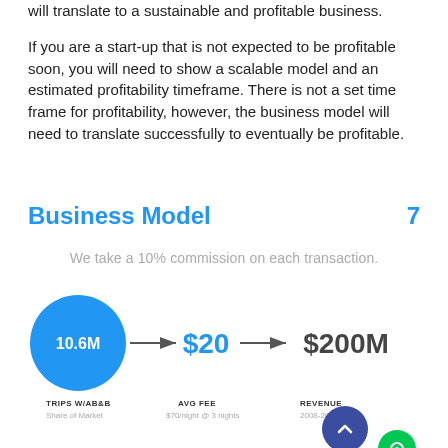will translate to a sustainable and profitable business.
If you are a start-up that is not expected to be profitable soon, you will need to show a scalable model and an estimated profitability timeframe. There is not a set time frame for profitability, however, the business model will need to translate successfully to eventually be profitable.
Business Model  7
We take a 10% commission on each transaction.
[Figure (infographic): Infographic showing: 10.6M (blue circle) → $20 → $200M with labels: TRIPS W/AB&B (Share of Market), AVG FEE ($70/night @ 3 nights), REVENUE (2008-2011)]